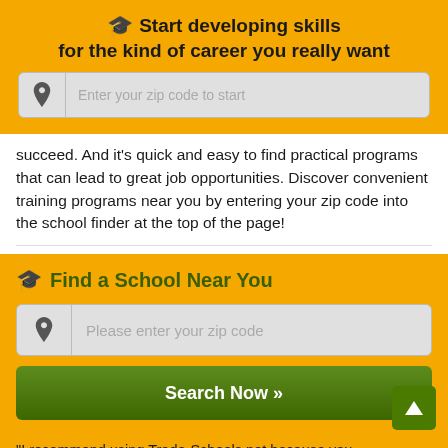🎓 Start developing skills for the kind of career you really want
[Figure (screenshot): Search input field with pin/location icon and placeholder text 'Enter your zip code to start']
succeed. And it's quick and easy to find practical programs that can lead to great job opportunities. Discover convenient training programs near you by entering your zip code into the school finder at the top of the page!
Find a School Near You
[Figure (screenshot): Search input field with pin/location icon and placeholder text 'Please enter your zip code', and a green Search Now button below]
"I recommend using Trade-Schools.net because you